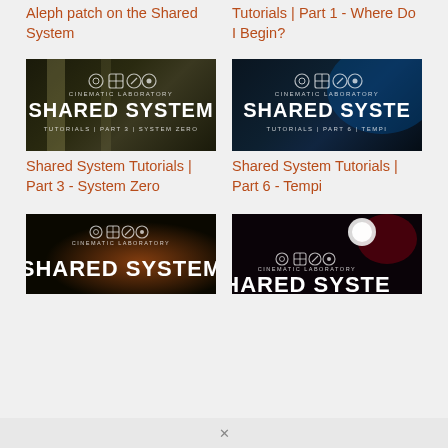Aleph patch on the Shared System
Tutorials | Part 1 - Where Do I Begin?
[Figure (photo): Thumbnail image for Shared System Tutorials Part 3 - System Zero. Dark background with large white bold text SHARED SYSTEM, TUTORIALS | PART 3 | SYSTEM ZERO, Cinematic Laboratory logo and icons.]
Shared System Tutorials | Part 3 - System Zero
[Figure (photo): Thumbnail image for Shared System Tutorials Part 6 - Tempi. Dark blue background with white bold text SHARED SYSTE, TUTORIALS | PART 6 | TEMPI, Cinematic Laboratory logo and icons.]
Shared System Tutorials | Part 6 - Tempi
[Figure (photo): Thumbnail image partially visible, dark with warm brown/orange tones, SHARED SYSTEM text visible, Cinematic Laboratory branding.]
[Figure (photo): Thumbnail image partially visible, dark reddish background, SHARED SYSTE text visible, Cinematic Laboratory branding with light bulb graphic.]